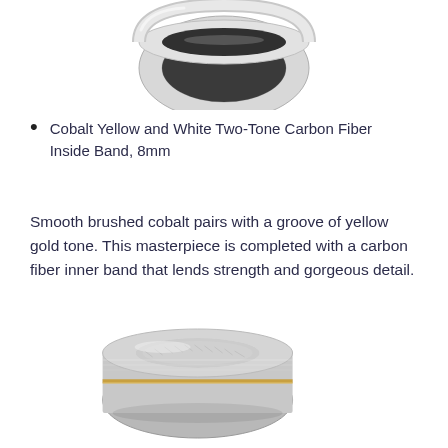[Figure (photo): Top portion of a cobalt ring with dark carbon fiber inlay visible, silver/chrome exterior, shown from above at an angle]
Cobalt Yellow and White Two-Tone Carbon Fiber Inside Band, 8mm
Smooth brushed cobalt pairs with a groove of yellow gold tone. This masterpiece is completed with a carbon fiber inner band that lends strength and gorgeous detail.
[Figure (photo): A silver cobalt ring with a thin yellow gold tone groove/stripe running around the middle, white carbon fiber visible on the inner band, shown from the side at a slight angle]